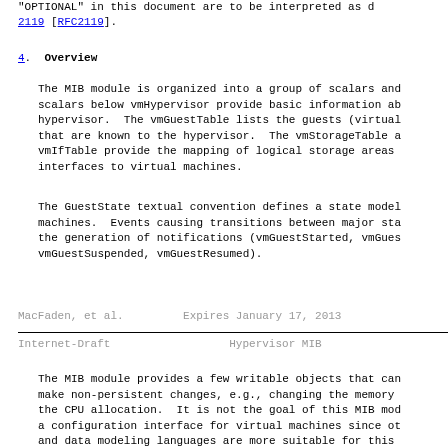"OPTIONAL" in this document are to be interpreted as described in RFC 2119 [RFC2119].
4.  Overview
The MIB module is organized into a group of scalars and tables. The scalars below vmHypervisor provide basic information about the hypervisor.  The vmGuestTable lists the guests (virtual machines) that are known to the hypervisor.  The vmStorageTable and vmIfTable provide the mapping of logical storage areas and network interfaces to virtual machines.
The GuestState textual convention defines a state model for virtual machines.  Events causing transitions between major states trigger the generation of notifications (vmGuestStarted, vmGuestStopped, vmGuestSuspended, vmGuestResumed).
MacFaden, et al.         Expires January 17, 2013
Internet-Draft                    Hypervisor MIB
The MIB module provides a few writable objects that can be used to make non-persistent changes, e.g., changing the memory allocation or the CPU allocation.  It is not the goal of this MIB module to provide a configuration interface for virtual machines since other YANG and data modeling languages are more suitable for this...